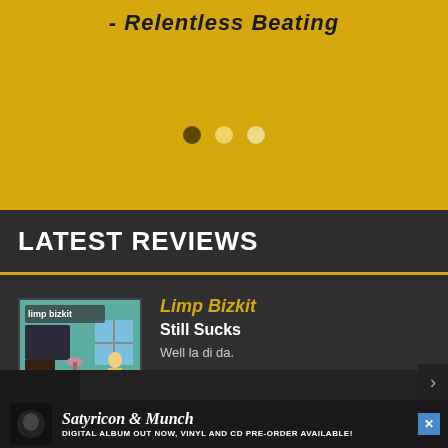- Relentless Beating
LATEST REVIEWS
Limp Bizkit
Still Sucks
Well la di da.
80
[Figure (photo): Limp Bizkit - Still Sucks album cover showing animated cartoon scene of band members in a living room]
Satyricon & Munch
DIGITAL ALBUM OUT NOW, VINYL AND CD PRE-ORDER AVAILABLE!